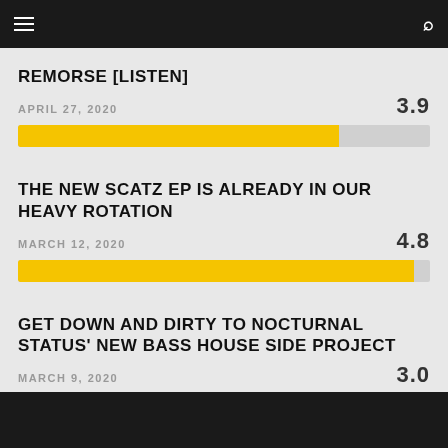REMORSE [LISTEN]
APRIL 27, 2020
[Figure (bar-chart): Rating bar 3.9/5]
THE NEW SCATZ EP IS ALREADY IN OUR HEAVY ROTATION
MARCH 12, 2020
[Figure (bar-chart): Rating bar 4.8/5]
GET DOWN AND DIRTY TO NOCTURNAL STATUS' NEW BASS HOUSE SIDE PROJECT
MARCH 9, 2020
[Figure (bar-chart): Rating bar 3.0/5]